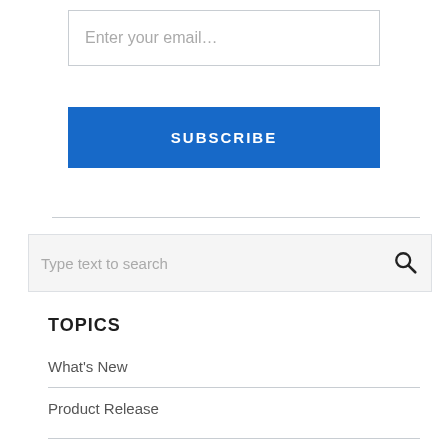Enter your email…
SUBSCRIBE
Type text to search
TOPICS
What's New
Product Release